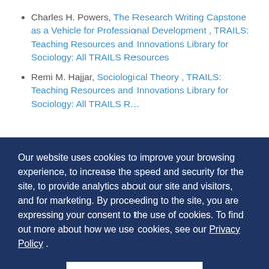Charles H. Powers, The Research Writing Capstone as a Vehicle for Professional Development , TRAILS: Teaching Resources and Innovations Library for Sociology: All TRAILS Resources
Remi M. Hajjar, Sociological Theory , TRAILS: Teaching Resources and Innovations Library for Sociology: All TRAILS Resources
Our website uses cookies to improve your browsing experience, to increase the speed and security for the site, to provide analytics about our site and visitors, and for marketing. By proceeding to the site, you are expressing your consent to the use of cookies. To find out more about how we use cookies, see our Privacy Policy .